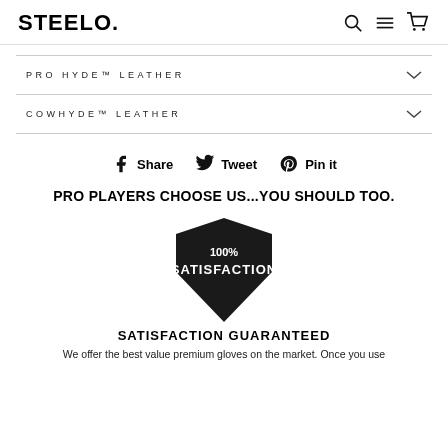STEELO.
PRO HYDE™ LEATHER
COWHYDE™ LEATHER
Share  Tweet  Pin it
PRO PLAYERS CHOOSE US...YOU SHOULD TOO.
[Figure (illustration): 100% SATISFACTION shield badge logo in black]
SATISFACTION GUARANTEED
We offer the best value premium gloves on the market. Once you use